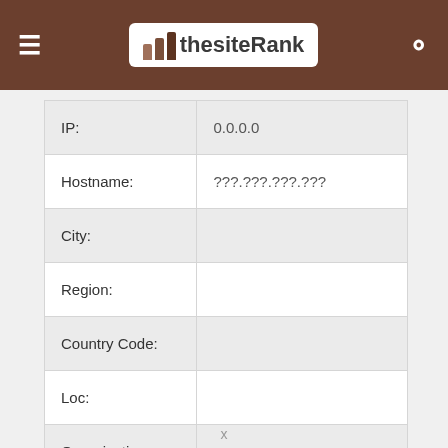thesiteRank
| Field | Value |
| --- | --- |
| IP: | 0.0.0.0 |
| Hostname: | ???.???.???.??? |
| City: |  |
| Region: |  |
| Country Code: |  |
| Loc: |  |
| Organization: |  |